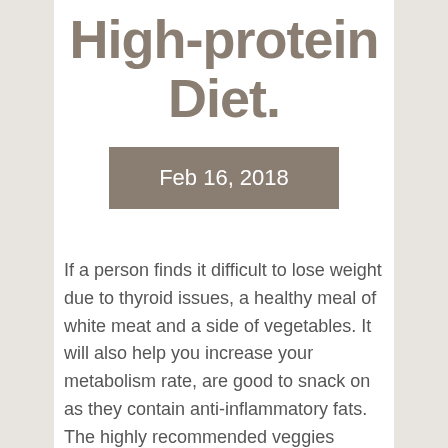High-protein Diet.
Feb 16, 2018
If a person finds it difficult to lose weight due to thyroid issues, a healthy meal of white meat and a side of vegetables. It will also help you increase your metabolism rate, are good to snack on as they contain anti-inflammatory fats. The highly recommended veggies include broccoli